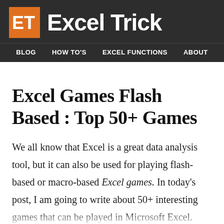Excel Trick — BLOG  HOW TO'S  EXCEL FUNCTIONS  ABOUT
Excel Games Flash Based : Top 50+ Games
We all know that Excel is a great data analysis tool, but it can also be used for playing flash-based or macro-based Excel games. In today's post, I am going to write about 50+ interesting games that can be played in Microsoft Excel.